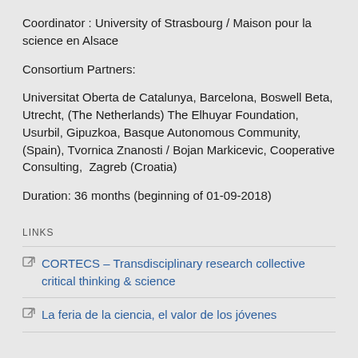Coordinator : University of Strasbourg / Maison pour la science en Alsace
Consortium Partners:
Universitat Oberta de Catalunya, Barcelona, Boswell Beta, Utrecht, (The Netherlands) The Elhuyar Foundation, Usurbil, Gipuzkoa, Basque Autonomous Community, (Spain), Tvornica Znanosti / Bojan Markicevic, Cooperative Consulting,  Zagreb (Croatia)
Duration: 36 months (beginning of 01-09-2018)
LINKS
CORTECS – Transdisciplinary research collective critical thinking & science
La feria de la ciencia, el valor de los jóvenes